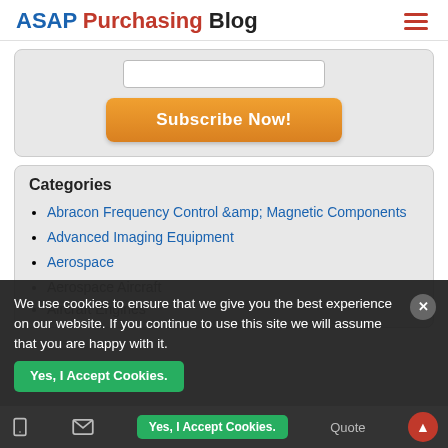ASAP Purchasing Blog
[Figure (other): Subscribe Now! button with input field in a grey rounded box]
Categories
Abracon Frequency Control &amp; Magnetic Components
Advanced Imaging Equipment
Aerospace
Aerospace Aircraft
Aircraft Engines
We use cookies to ensure that we give you the best experience on our website. If you continue to use this site we will assume that you are happy with it.
Yes, I Accept Cookies.  Quote